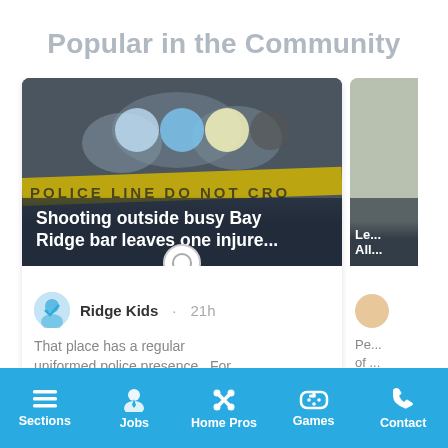Popular in the Community
[Figure (screenshot): News article card showing a police scene with 'POLICE LINE DO NOT CROSS' tape and flashing police lights. Headline: 'Shooting outside busy Bay Ridge bar leaves one injure...' Below: user Ridge Kids, 21h, comment 'That place has a regular uniformed police presence. For...' with Top Comment label and thumb icon. Partially visible second card on the right.]
Sections  Jobs  Home Pros  Games  Contact